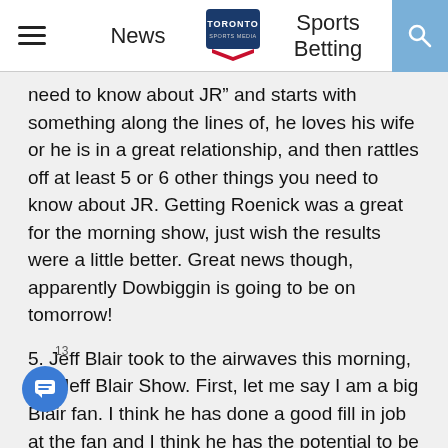News | Toronto Sports Media | Sports Betting
need to know about JR” and starts with something along the lines of, he loves his wife or he is in a great relationship, and then rattles off at least 5 or 6 other things you need to know about JR. Getting Roenick was a great for the morning show, just wish the results were a little better. Great news though, apparently Dowbiggin is going to be on tomorrow!
5. Jeff Blair took to the airwaves this morning, the Jeff Blair Show. First, let me say I am a big Blair fan. I think he has done a good fill in job at the fan and I think he has the potential to be a good radio host. Personally, I think he needs a co-host but that’s me. Now, I am a little confused. When Kollins made his changes he dumped Smith and Armstrong. One of the reasons given was that they wanted consistency at the station. With Smith on the road so much for the Raptors (and I am a Smith fan